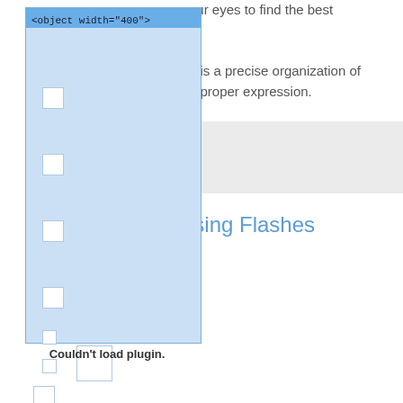our eyes to find the best
g is a precise organization of a proper expression.
[Figure (screenshot): Browser plugin placeholder showing '<object width="400">' header in blue with light blue background and small white squares, labeled 'Couldn't load plugin.']
ising Flashes
Couldn't load plugin.